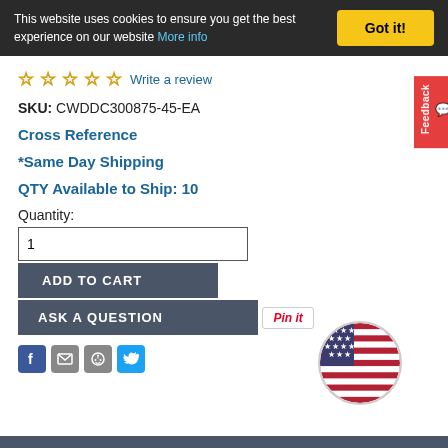This website uses cookies to ensure you get the best experience on our website More info  Got it!
☆ ☆ ☆ ☆ ☆ Write a review
SKU: CWDDC300875-45-EA
Cross Reference
*Same Day Shipping
QTY Available to Ship: 10
Quantity:
ADD TO CART
ASK A QUESTION
[Figure (logo): Pin it button]
[Figure (infographic): Social share icons: Facebook, Email, Reddit, Twitter]
[Figure (illustration): US flag circle badge]